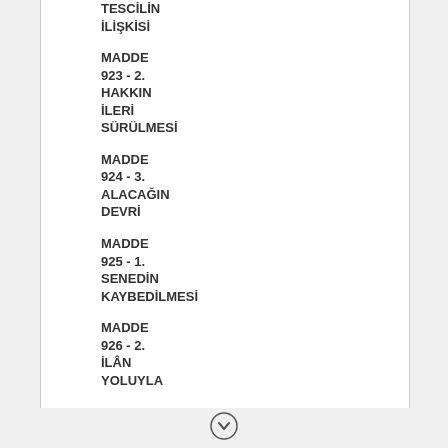TESCİLİN İLİŞKİSİ
MADDE 923 - 2. HAKKIN İLERİ SÜRÜLMESİ
MADDE 924 - 3. ALACAĞIN DEVRİ
MADDE 925 - 1. SENEDİN KAYBEDİLMESİ
MADDE 926 - 2. İLÂN YOLUYLA